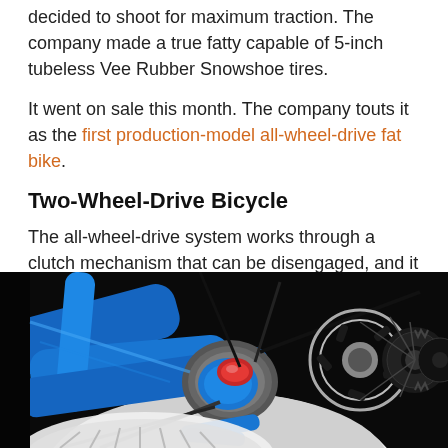decided to shoot for maximum traction. The company made a true fatty capable of 5-inch tubeless Vee Rubber Snowshoe tires.
It went on sale this month. The company touts it as the first production-model all-wheel-drive fat bike.
Two-Wheel-Drive Bicycle
The all-wheel-drive system works through a clutch mechanism that can be disengaged, and it transfers power from the rear hub to the front.
[Figure (photo): Close-up photograph of a blue bicycle rear hub assembly showing a clutch mechanism with a red button/knob, brake disc, cables, and black gear cassette]